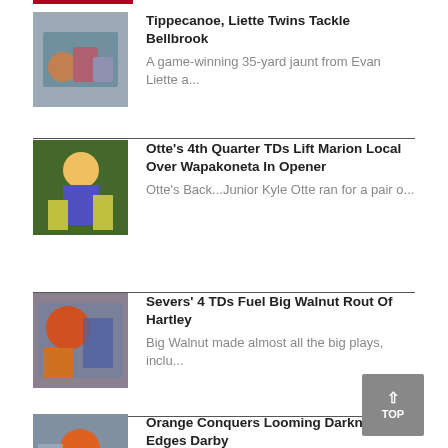[Figure (photo): Football game action photo - players tackling]
Tippecanoe, Liette Twins Tackle Bellbrook
A game-winning 35-yard jaunt from Evan Liette a...
[Figure (photo): Football player in purple and yellow uniform running with ball]
Otte's 4th Quarter TDs Lift Marion Local Over Wapakoneta In Opener
Otte's Back...Junior Kyle Otte ran for a pair o...
[Figure (photo): Football players in red uniforms in game action]
Severs' 4 TDs Fuel Big Walnut Rout Of Hartley
Big Walnut made almost all the big plays, inclu...
[Figure (photo): Football player in orange uniform]
Orange Conquers Looming Darkness, Edges Darby
Olentangy Orange dangled on the precipice o...